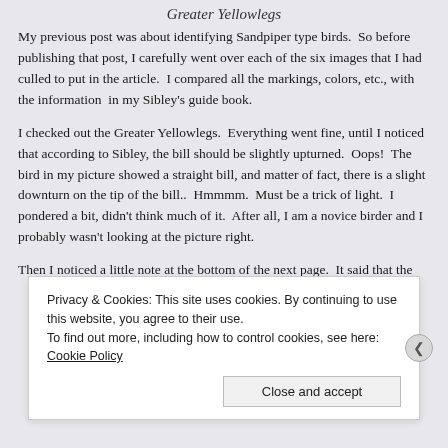Greater Yellowlegs
My previous post was about identifying Sandpiper type birds.  So before publishing that post, I carefully went over each of the six images that I had culled to put in the article.  I compared all the markings, colors, etc., with the information  in my Sibley's guide book.
I checked out the Greater Yellowlegs.  Everything went fine, until I noticed that according to Sibley, the bill should be slightly upturned.  Oops!  The bird in my picture showed a straight bill, and matter of fact, there is a slight downturn on the tip of the bill..  Hmmmm.  Must be a trick of light.  I pondered a bit, didn't think much of it.  After all, I am a novice birder and I probably wasn't looking at the picture right.
Then I noticed a little note at the bottom of the next page.  It said that the
Privacy & Cookies: This site uses cookies. By continuing to use this website, you agree to their use.
To find out more, including how to control cookies, see here: Cookie Policy
Close and accept